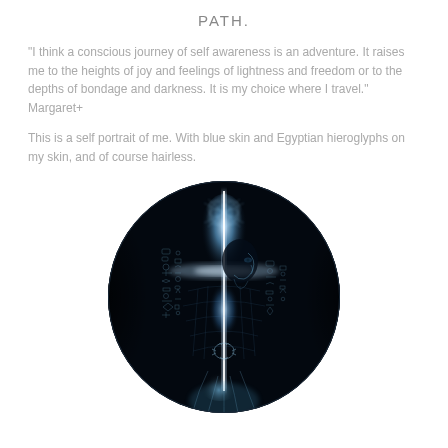PATH.
“I think a conscious journey of self awareness is an adventure. It raises me to the heights of joy and feelings of lightness and freedom or to the depths of bondage and darkness. It is my choice where I travel.” Margaret+
This is a self portrait of me. With blue skin and Egyptian hieroglyphs on my skin, and of course hairless.
[Figure (illustration): A circular cropped digital self-portrait artwork showing a bald figure with blue skin covered in Egyptian hieroglyphs and geometric sacred geometry patterns. The image has a dark background with luminous white-blue light emanating from the figure's torso and head area. The style is dark, mystical, and X-ray-like in appearance.]